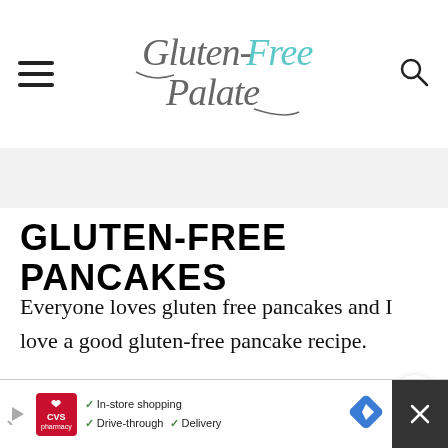Gluten-Free Palate
GLUTEN-FREE PANCAKES
Everyone loves gluten free pancakes and I love a good gluten-free pancake recipe.
Don't get me wrong, there are plenty of gluten free pancake mixes to purchase
CVS Pharmacy ad: In-store shopping, Drive-through, Delivery